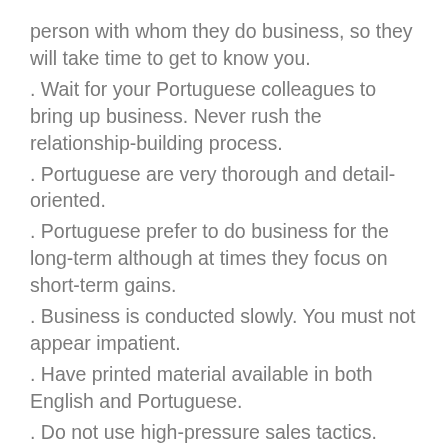person with whom they do business, so they will take time to get to know you.
. Wait for your Portuguese colleagues to bring up business. Never rush the relationship-building process.
. Portuguese are very thorough and detail-oriented.
. Portuguese prefer to do business for the long-term although at times they focus on short-term gains.
. Business is conducted slowly. You must not appear impatient.
. Have printed material available in both English and Portuguese.
. Do not use high-pressure sales tactics. Portuguese are offended by aggressive behaviour.
. Portuguese business is hierarchical. The highest-ranking person makes decisions.
. Portuguese negotiate with people – not companies. Do not change your negotiating team or you may have to